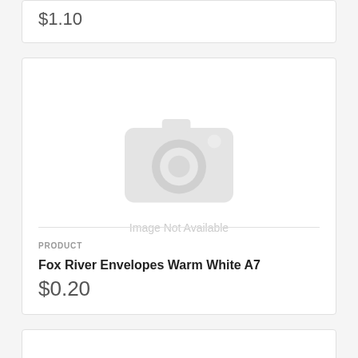$1.10
[Figure (illustration): Product image placeholder with camera icon and text 'Image Not Available']
PRODUCT
Fox River Envelopes Warm White A7
$0.20